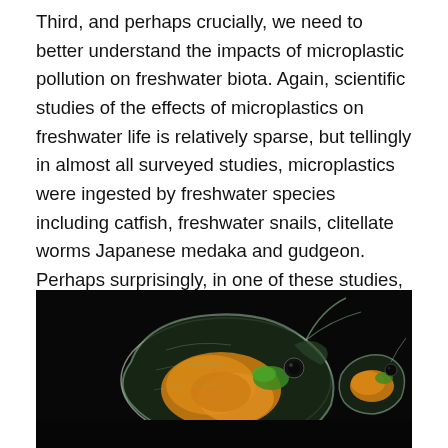Third, and perhaps crucially, we need to better understand the impacts of microplastic pollution on freshwater biota. Again, scientific studies of the effects of microplastics on freshwater life is relatively sparse, but tellingly in almost all surveyed studies, microplastics were ingested by freshwater species including catfish, freshwater snails, clitellate worms Japanese medaka and gudgeon.  Perhaps surprisingly, in one of these studies, tiny plastic particles between 20 and 1000nm were shown to accumulate in the tissues of the minuscule freshwater water flea Daphnia magna.
[Figure (photo): Close-up photograph of two Daphnia magna (water fleas) against a black background, showing their translucent bodies with orange internal organs and green contents visible.]